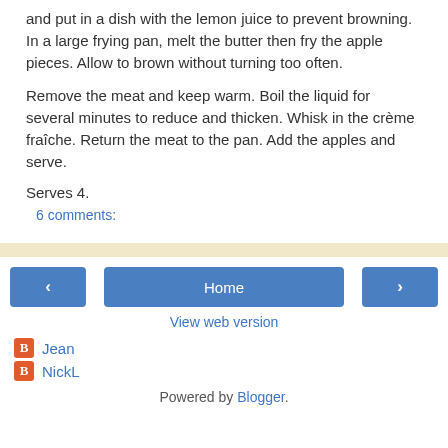and put in a dish with the lemon juice to prevent browning. In a large frying pan, melt the butter then fry the apple pieces.  Allow to brown without turning too often.
Remove the meat and keep warm.  Boil the liquid for several minutes to reduce and thicken.  Whisk in the crème fraîche.  Return the meat to the pan.  Add the apples and serve.
Serves 4.
6 comments:
Home
View web version
Jean
NickL
Powered by Blogger.